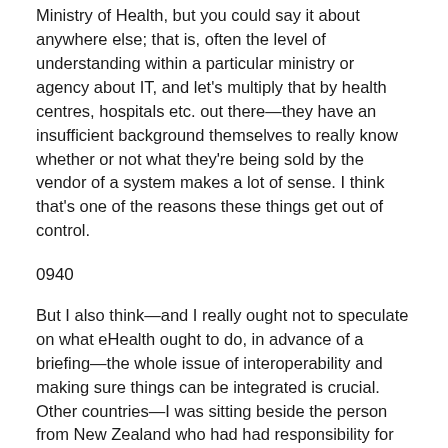Ministry of Health, but you could say it about anywhere else; that is, often the level of understanding within a particular ministry or agency about IT, and let's multiply that by health centres, hospitals etc. out there—they have an insufficient background themselves to really know whether or not what they're being sold by the vendor of a system makes a lot of sense. I think that's one of the reasons these things get out of control.
0940
But I also think—and I really ought not to speculate on what eHealth ought to do, in advance of a briefing—the whole issue of interoperability and making sure things can be integrated is crucial. Other countries—I was sitting beside the person from New Zealand who had had responsibility for bringing in their system. Mind you, New Zealand is tiny, but the idea is the same. He said they had not gone about worrying about a big, overall architecture. They had only focused on interoperability and, as it were,